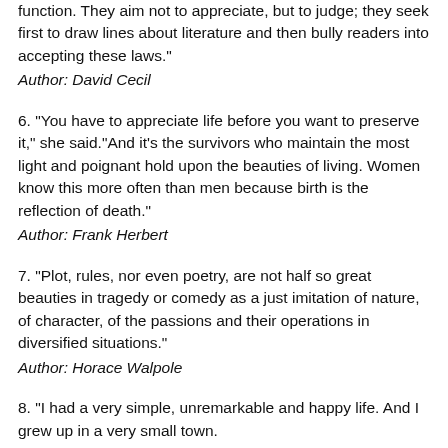function. They aim not to appreciate, but to judge; they seek first to draw lines about literature and then bully readers into accepting these laws."
Author: David Cecil
6. "You have to appreciate life before you want to preserve it," she said."And it's the survivors who maintain the most light and poignant hold upon the beauties of living. Women know this more often than men because birth is the reflection of death."
Author: Frank Herbert
7. "Plot, rules, nor even poetry, are not half so great beauties in tragedy or comedy as a just imitation of nature, of character, of the passions and their operations in diversified situations."
Author: Horace Walpole
8. "I had a very simple, unremarkable and happy life. And I grew up in a very small town.